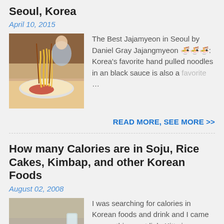Seoul, Korea
April 10, 2015
[Figure (photo): Photo of jajamyeon noodles being lifted from a bowl with chopsticks]
The Best Jajamyeon in Seoul by Daniel Gray Jajangmyeon 짜장면: Korea's favorite hand pulled noodles in an black sauce is also a favorite …
READ MORE, SEE MORE >>
How many Calories are in Soju, Rice Cakes, Kimbap, and other Korean Foods
August 02, 2008
[Figure (photo): Photo of Korean food on a white plate including what appears to be jeon or galbi]
I was searching for calories in Korean foods and drink and I came across this great link. Kitty is a recent returnee to Korea and she h …
READ MORE, SEE MORE >>